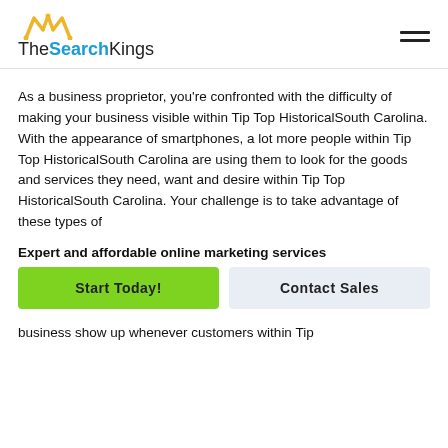TheSearchKings
As a business proprietor, you're confronted with the difficulty of making your business visible within Tip Top HistoricalSouth Carolina. With the appearance of smartphones, a lot more people within Tip Top HistoricalSouth Carolina are using them to look for the goods and services they need, want and desire within Tip Top HistoricalSouth Carolina. Your challenge is to take advantage of these types of
Expert and affordable online marketing services
Start Today!
Contact Sales
business show up whenever customers within Tip